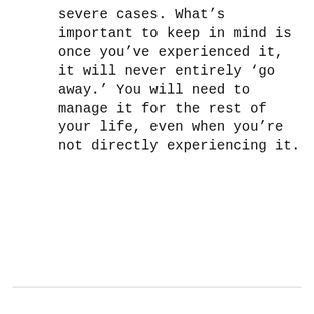severe cases. What's important to keep in mind is once you've experienced it, it will never entirely 'go away.' You will need to manage it for the rest of your life, even when you're not directly experiencing it.